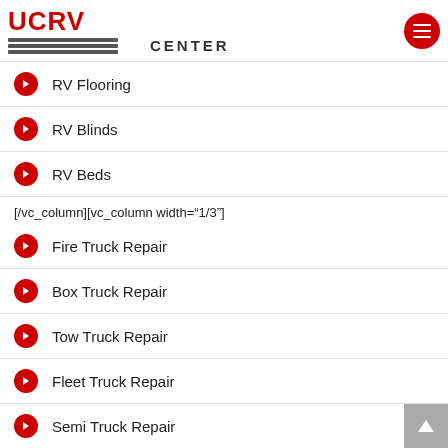UCRV CENTER [logo with hamburger menu]
RV Flooring
RV Blinds
RV Beds
[/vc_column][vc_column width="1/3"]
Fire Truck Repair
Box Truck Repair
Tow Truck Repair
Fleet Truck Repair
Semi Truck Repair